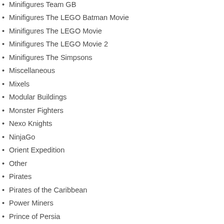Minifigures Team GB
Minifigures The LEGO Batman Movie
Minifigures The LEGO Movie
Minifigures The LEGO Movie 2
Minifigures The Simpsons
Miscellaneous
Mixels
Modular Buildings
Monster Fighters
Nexo Knights
NinjaGo
Orient Expedition
Other
Pirates
Pirates of the Caribbean
Power Miners
Prince of Persia
Product Collections
Racers
Sculptures
Seasonal
Space
Speed Champions
Spider-Man
SpongeBob Squarepants